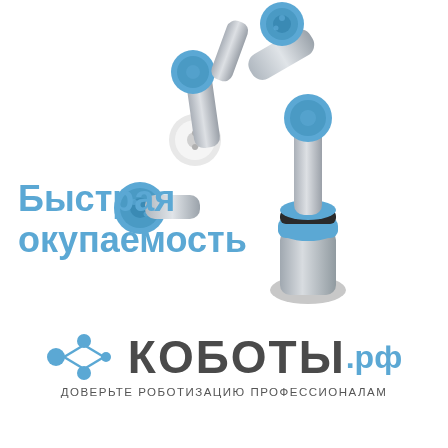[Figure (photo): Industrial collaborative robot arm (cobot) with silver/aluminum body and blue joint caps, shown extending upward and to the right against a white background.]
Быстрая окупаемость
[Figure (logo): КОБОТЫ.рф logo with blue molecular/connector icon on left, bold dark text КОБОТЫ and blue .рф, tagline ДОВЕРЬТЕ РОБОТИЗАЦИЮ ПРОФЕССИОНАЛАМ below.]